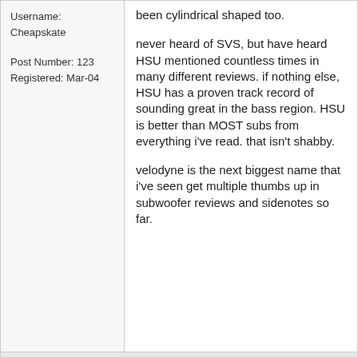Username: Cheapskate
Post Number: 123
Registered: Mar-04
been cylindrical shaped too.

never heard of SVS, but have heard HSU mentioned countless times in many different reviews. if nothing else, HSU has a proven track record of sounding great in the bass region. HSU is better than MOST subs from everything i've read. that isn't shabby.

velodyne is the next biggest name that i've seen get multiple thumbs up in subwoofer reviews and sidenotes so far.